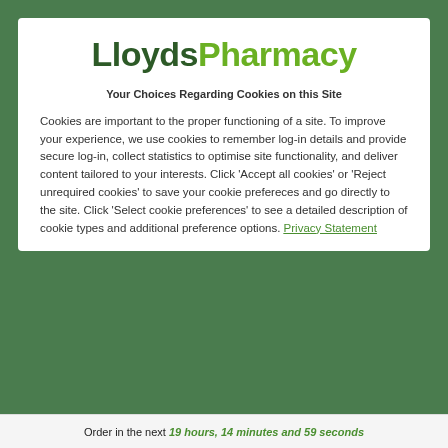[Figure (logo): LloydsPharmacy logo — 'Lloyds' in dark green bold, 'Pharmacy' in light green bold]
Your Choices Regarding Cookies on this Site
Cookies are important to the proper functioning of a site. To improve your experience, we use cookies to remember log-in details and provide secure log-in, collect statistics to optimise site functionality, and deliver content tailored to your interests. Click 'Accept all cookies' or 'Reject unrequired cookies' to save your cookie prefereces and go directly to the site. Click 'Select cookie preferences' to see a detailed description of cookie types and additional preference options. Privacy Statement
Order in the next 19 hours, 14 minutes and 59 seconds